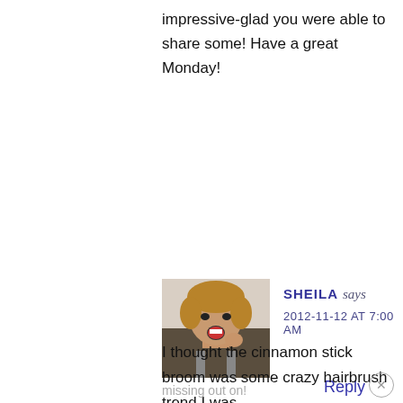impressive-glad you were able to share some! Have a great Monday!
Reply
[Figure (photo): Avatar photo of Sheila, a woman with short blonde hair making a surprised expression]
SHEILA says 2012-11-12 AT 7:00 AM
I thought the cinnamon stick broom was some crazy hairbrush trend I was missing out on!